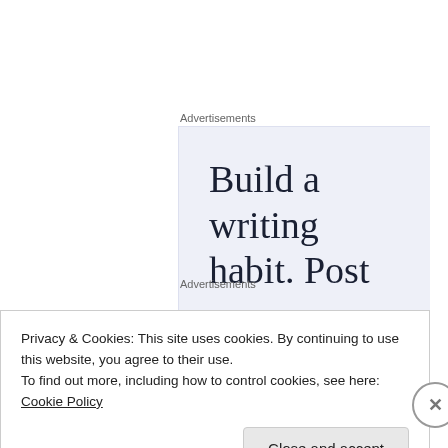Advertisements
[Figure (screenshot): Advertisement banner with light blue-gray background showing large serif text: 'Build a writing habit. Post on' with a period/dot on the next line]
Brigitte
Advertisements
Privacy & Cookies: This site uses cookies. By continuing to use this website, you agree to their use.
To find out more, including how to control cookies, see here: Cookie Policy
Close and accept